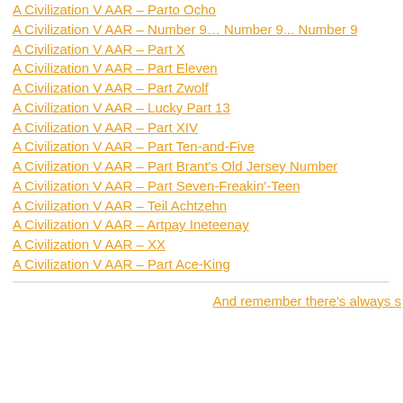A Civilization V AAR – Parto Ocho
A Civilization V AAR – Number 9… Number 9... Number 9
A Civilization V AAR – Part X
A Civilization V AAR – Part Eleven
A Civilization V AAR – Part Zwolf
A Civilization V AAR – Lucky Part 13
A Civilization V AAR – Part XIV
A Civilization V AAR – Part Ten-and-Five
A Civilization V AAR – Part Brant's Old Jersey Number
A Civilization V AAR – Part Seven-Freakin'-Teen
A Civilization V AAR – Teil Achtzehn
A Civilization V AAR – Artpay Ineteenay
A Civilization V AAR – XX
A Civilization V AAR – Part Ace-King
And remember there's always s